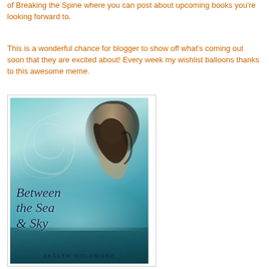of Breaking the Spine where you can post about upcoming books you're looking forward to.
This is a wonderful chance for blogger to show off what's coming out soon that they are excited about! Every week my wishlist balloons thanks to this awesome meme.
[Figure (illustration): Book cover for 'Between the Sea & Sky' by Jaclyn Dolamore, featuring a young woman with flowing dark hair looking upward, surrounded by swirling mist and teal sea/sky tones. The title is written in navy cursive script.]